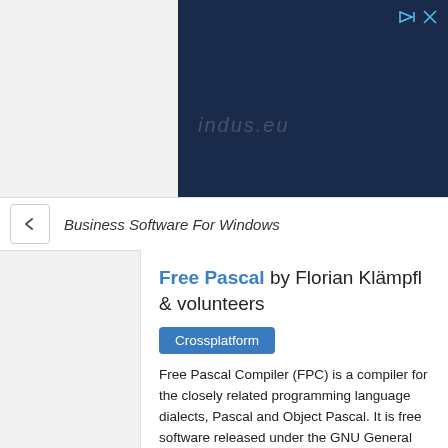[Figure (screenshot): Dark blue advertisement banner with light italic text overlay and ad controls (play/close icons) in top right corner]
Business Software For Windows
Free Pascal by Florian Klämpfl & volunteers
Crossplatform
Free Pascal Compiler (FPC) is a compiler for the closely related programming language dialects, Pascal and Object Pascal. It is free software released under the GNU General Public License. It...
Latest version of Free Pascal is 3.0.2 and it was released on 2017-02-15.
Tags: Compilers, Crossplatform Free Software, Crossplatform Software, Free Compilers And